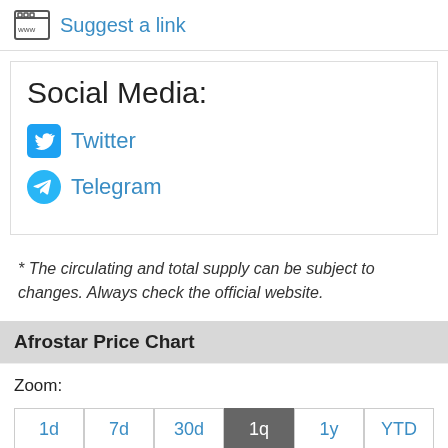Suggest a link
Social Media:
Twitter
Telegram
* The circulating and total supply can be subject to changes. Always check the official website.
Afrostar Price Chart
Zoom:
1d  7d  30d  1q  1y  YTD  Max